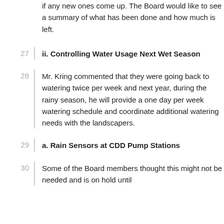Kring felt he had sufficient funds appropriated if any new ones come up. The Board would like to see a summary of what has been done and how much is left.
ii. Controlling Water Usage Next Wet Season
Mr. Kring commented that they were going back to watering twice per week and next year, during the rainy season, he will provide a one day per week watering schedule and coordinate additional watering needs with the landscapers.
a. Rain Sensors at CDD Pump Stations
Some of the Board members thought this might not be needed and is on hold until